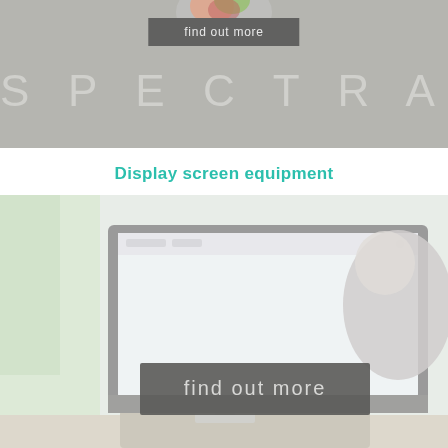[Figure (logo): SPECTRA logo on grey background with colourful orb above and 'find out more' button]
Display screen equipment
[Figure (photo): Person sitting at a computer monitor with 'find out more' button overlay]